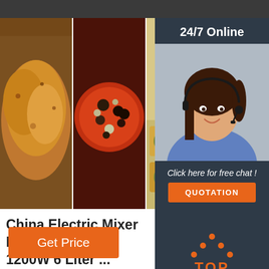[Figure (photo): Three food photos side by side: roasted chicken, pizza with toppings, and baked tarts]
[Figure (photo): Customer service agent woman with headset, with '24/7 Online' label and 'Click here for free chat!' text and QUOTATION button]
China Electric Mixer Machine C Mixer 1200W 6 Liter ...
China cake mixer MBL-05 is supplied by mixer manufacturers, producers, supp Global Sources,food mixer,kitchen foo mixer,electric mixer
[Figure (illustration): TOP icon with orange dots arranged in upward triangle above the word TOP in orange]
Get Price